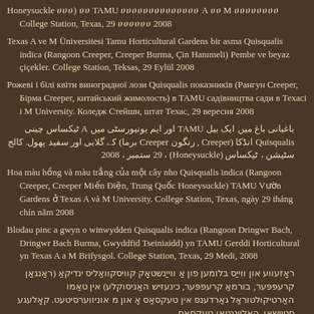Honeysuckle ሀሀሀ) ሀሀ TAMU ሀሀሀሀሀሀሀሀሀሀሀሀሀሀ A ሀሀ M ሀሀሀሀሀሀሀሀ College Station, Texas, 29 ሀሀሀሀሀሀ 2008
Texas A ve M Üniversitesi Tamu Horticultural Gardens bir asma Quisqualis indica (Rangoon Creeper, Creeper Burma, Çin Hanımeli) Pembe ve beyaz çiçekler. College Station, Teksas, 29 Eylül 2008
Рожеві і білі квіти виноградної лози Quisqualis показників (Рангун Creeper, Бірма Creeper, китайський жимолость) в TAMU садівництва сади в Техасі і M University. Коледж Стейшн, штат Техас, 29 вересня 2008
باغبانی باغ میں ایک بیل TAMU اور ایم یونیورسٹی میں A ٹیکساس چینی Quisqualis انڈکا (Creeper , رنگون Creeper برما) کے گلابی اور سفید پھول. کالج سٹیشن ، ٹیکساس Honeysuckle) ، 29 ستمبر ، 2008
Hoa màu hồng và màu trắng của một cây nho Quisqualis indica (Rangoon Creeper, Creeper Miến Điện, Trung Quốc Honeysuckle) TAMU Vườn Gardens ở Texas A và M University. College Station, Texas, ngày 29 tháng chín năm 2008
Blodau pinc a gwyn o winwydden Quisqualis indica (Rangoon Dringwr Bach, Dringwr Bach Burma, Gwyddfid Tseiniaidd) yn TAMU Gerddi Horticultural yn Texas A a M Brifysgol. College Station, Texas, 29 Medi, 2008
ראָזעווע און ווייַס בלומען פון אַ ווייַנשטאָק קוויסקוואַליס ינדיקאַ (ראַנגאַן קרעפּפּער, בורמאַ קרעפּפּער, כינעזיש האַניסוקלע) אין טאַמו האַרטיקולטוראַל גאַרדענס אין טעקסאַס אַ און מ אוניווערסיטעט. קאָלעגע סטיישאָן,